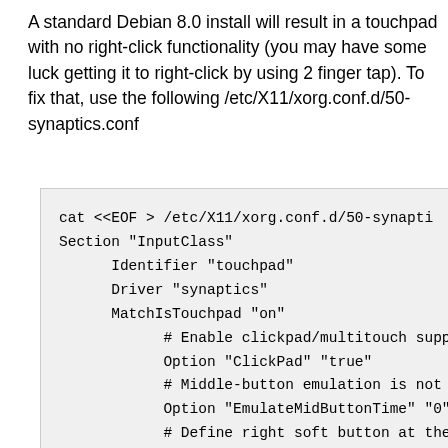A standard Debian 8.0 install will result in a touchpad with no right-click functionality (you may have some luck getting it to right-click by using 2 finger tap). To fix that, use the following /etc/X11/xorg.conf.d/50-synaptics.conf
cat <<EOF > /etc/X11/xorg.conf.d/50-synapti
Section "InputClass"
	Identifier "touchpad"
	Driver "synaptics"
	MatchIsTouchpad "on"
		# Enable clickpad/multitouch suppor
		Option "ClickPad" "true"
		# Middle-button emulation is not su
		Option "EmulateMidButtonTime" "0"
		# Define right soft button at the b
		Option      "SoftButtonAreas" "60%